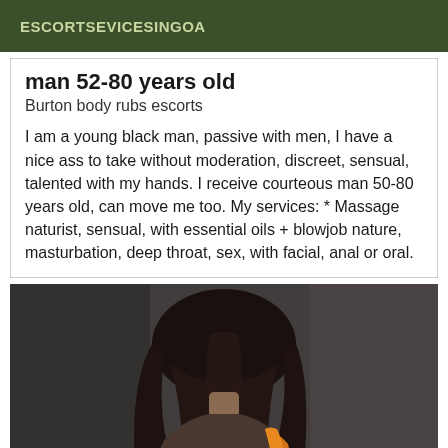ESCORTSEVICESINGOA
man 52-80 years old
Burton body rubs escorts
I am a young black man, passive with men, I have a nice ass to take without moderation, discreet, sensual, talented with my hands. I receive courteous man 50-80 years old, can move me too. My services: * Massage naturist, sensual, with essential oils + blowjob nature, masturbation, deep throat, sex, with facial, anal or oral.
[Figure (photo): Photo of a person with dark hair seen from behind, wearing an orange top, against a dark grey background.]